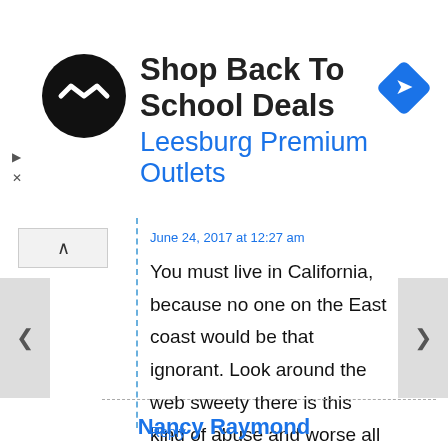[Figure (screenshot): Advertisement banner for Shop Back To School Deals at Leesburg Premium Outlets, with a black circular logo with arrow icon on left and a blue diamond navigation icon on right. Small ad controls (triangle and X) on lower left.]
June 24, 2017 at 12:27 am
You must live in California, because no one on the East coast would be that ignorant. Look around the web sweety there is this kind of abuse and worse all over.
Reply
Nancy Raymond